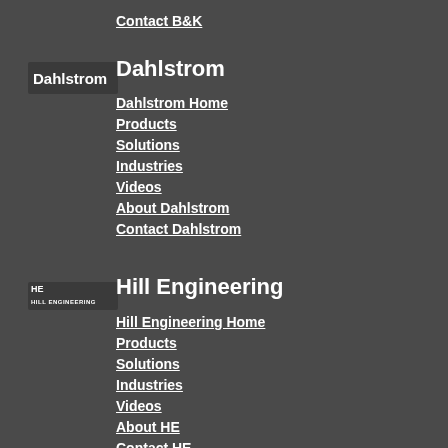Contact B&K
[Figure (logo): Dahlstrom logo — white text on dark background]
Dahlstrom
Dahlstrom Home
Products
Solutions
Industries
Videos
About Dahlstrom
Contact Dahlstrom
[Figure (logo): Hill Engineering logo — HE mark with text on dark background]
Hill Engineering
Hill Engineering Home
Products
Solutions
Industries
Videos
About HE
Contact HE